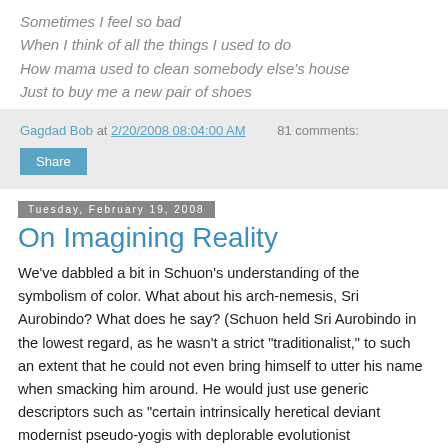Sometimes I feel so bad
When I think of all the things I used to do
How mama used to clean somebody else's house
Just to buy me a new pair of shoes
Gagdad Bob at 2/20/2008 08:04:00 AM    81 comments:
Share
Tuesday, February 19, 2008
On Imagining Reality
We've dabbled a bit in Schuon's understanding of the symbolism of color. What about his arch-nemesis, Sri Aurobindo? What does he say? (Schuon held Sri Aurobindo in the lowest regard, as he wasn't a strict "traditionalist," to such an extent that he could not even bring himself to utter his name when smacking him around. He would just use generic descriptors such as "certain intrinsically heretical deviant modernist pseudo-yogis with deplorable evolutionist